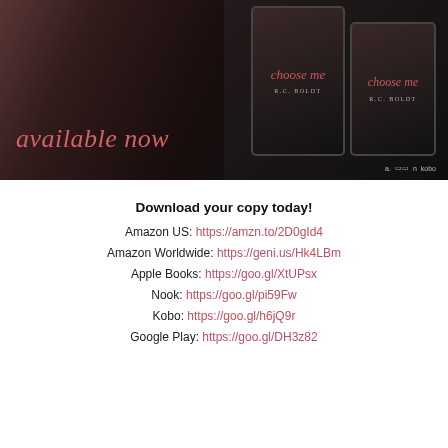[Figure (illustration): Book promotional image showing a romantic couple close together in dark tones on the left, and two book covers for 'Choose Me' by RC Boldt on the right. Text 'available now' in coral/salmon italic script overlaid on the image. Retailer logos (Amazon, Nook, Kobo) shown at bottom right.]
Download your copy today!
Amazon US: https://amzn.to/2D0gId4
Amazon Worldwide: https://geni.us/Hk4LBm
Apple Books: https://goo.gl/XtUPsx
Nook: https://goo.gl/pi59Fw
Kobo: https://goo.gl/h6jQ9r
Google Play: https://goo.gl/DH3z82